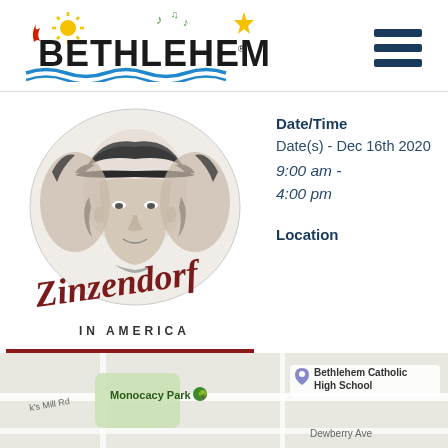[Figure (logo): Bethlehem Pennsylvania city logo with stylized text, sun, music notes, flame and wavy blue water line]
[Figure (logo): Zinzendorf in America logo with etched portrait of Count Zinzendorf and two side profiles, script Zinzendorf text in red]
Date/Time
Date(s) - Dec 16th 2020
9:00 am - 4:00 pm
Location
[Figure (map): Google Maps screenshot showing Monocacy Park, Bethlehem Catholic High School, and Dewberry Ave]